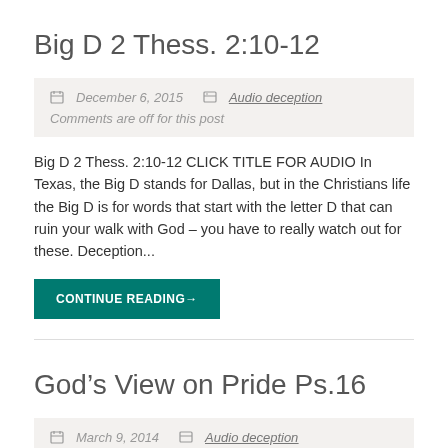Big D 2 Thess. 2:10-12
December 6, 2015   Audio deception
Comments are off for this post
Big D  2 Thess. 2:10-12 CLICK TITLE FOR AUDIO In Texas, the Big D stands for Dallas, but in the Christians life the Big D is for words that start with the letter D that can ruin your walk with God – you have to really watch out for these. Deception...
CONTINUE READING→
God’s View on Pride Ps.16
March 9, 2014   Audio deception